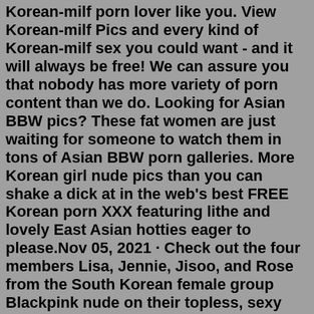Korean-milf porn lover like you. View Korean-milf Pics and every kind of Korean-milf sex you could want - and it will always be free! We can assure you that nobody has more variety of porn content than we do. Looking for Asian BBW pics? These fat women are just waiting for someone to watch them in tons of Asian BBW porn galleries. More Korean girl nude pics than you can shake a dick at in the web's best FREE Korean porn XXX featuring lithe and lovely East Asian hotties eager to please.Nov 05, 2021 · Check out the four members Lisa, Jennie, Jisoo, and Rose from the South Korean female group Blackpink nude on their topless, sexy pics, fake nudes and in a leaked porn video! Blackpink is a South Korean girl group formed by YG Entertainment and has four members Jisoo, Jennie, Rosé, and Lisa. The group debuted on August 8, 2016, with their ... korean model photos. User search results for: korean model. More Girls Chat with xHamsterLive girls now!Thai Model No.465: Model Chonlada Patsatan (15 photos). MFStar Vol.166: Model Jennanni Jen (34 photos).